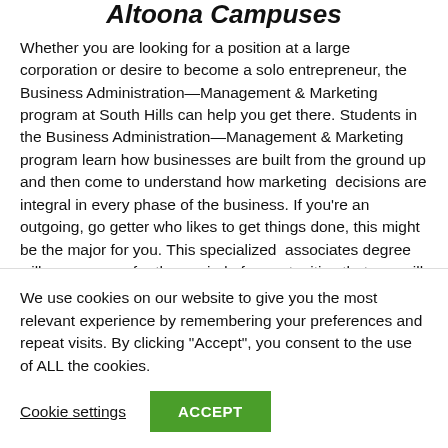Altoona Campuses
Whether you are looking for a position at a large corporation or desire to become a solo entrepreneur, the Business Administration—Management & Marketing program at South Hills can help you get there. Students in the Business Administration—Management & Marketing program learn how businesses are built from the ground up and then come to understand how marketing  decisions are integral in every phase of the business. If you're an outgoing, go getter who likes to get things done, this might be the major for you. This specialized  associates degree will prepare you for the myriad of opportunities that you will find out there in the
We use cookies on our website to give you the most relevant experience by remembering your preferences and repeat visits. By clicking "Accept", you consent to the use of ALL the cookies.